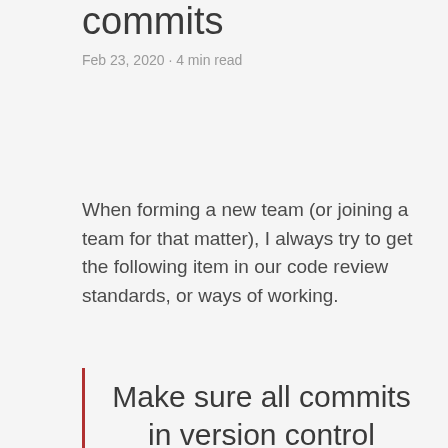commits
Feb 23, 2020 · 4 min read
When forming a new team (or joining a team for that matter), I always try to get the following item in our code review standards, or ways of working.
Make sure all commits in version control